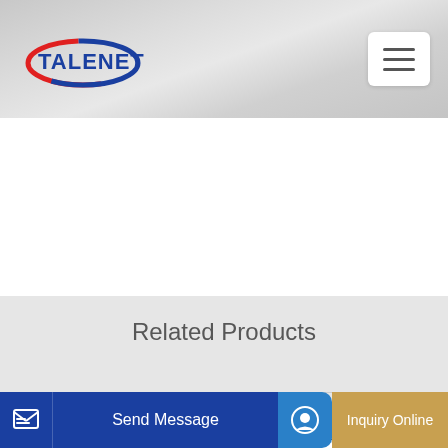[Figure (logo): TALENET company logo with red and blue oval design and bold blue text]
Related Products
Concrete Mixer With Lift Concrete Mixer With Lift
3 5m3 4m3 mobile concrete mixer with self loading fuction
Send Message
Inquiry Online